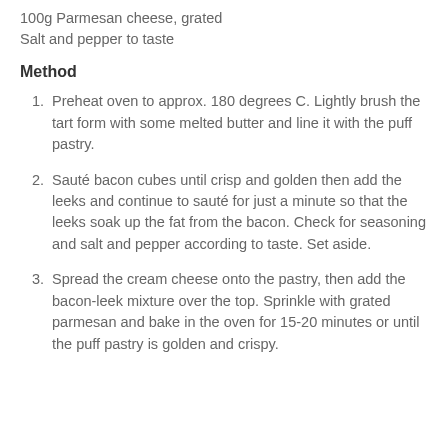100g Parmesan cheese, grated
Salt and pepper to taste
Method
Preheat oven to approx. 180 degrees C. Lightly brush the tart form with some melted butter and line it with the puff pastry.
Sauté bacon cubes until crisp and golden then add the leeks and continue to sauté for just a minute so that the leeks soak up the fat from the bacon. Check for seasoning and salt and pepper according to taste. Set aside.
Spread the cream cheese onto the pastry, then add the bacon-leek mixture over the top. Sprinkle with grated parmesan and bake in the oven for 15-20 minutes or until the puff pastry is golden and crispy.